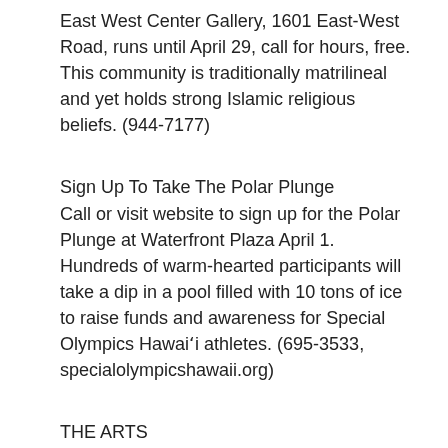East West Center Gallery, 1601 East-West Road, runs until April 29, call for hours, free. This community is traditionally matrilineal and yet holds strong Islamic religious beliefs. (944-7177)
Sign Up To Take The Polar Plunge
Call or visit website to sign up for the Polar Plunge at Waterfront Plaza April 1. Hundreds of warm-hearted participants will take a dip in a pool filled with 10 tons of ice to raise funds and awareness for Special Olympics Hawaiʻi athletes. (695-3533, specialolympicshawaii.org)
THE ARTS
Across The Hawaiian Islands: Recent Landscape Painting Contemporary Museum at First Hawaiian Center, 999 Bishop St., Honolulu, runs until May 11, call for times and cost. Kirk Kurokawa, Kelly Sueda and Darrell Orwig create works that offers viewers a fresh look at their surroundings. (526-1322)